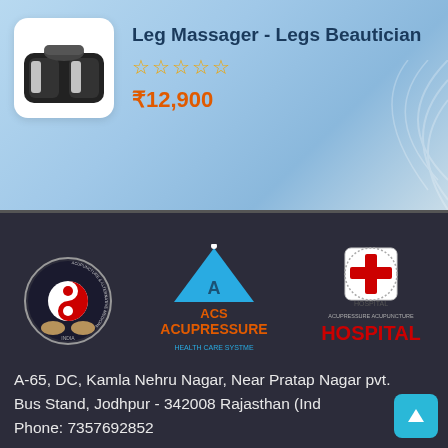[Figure (photo): Product listing card with leg massager image, title, star rating, and price on a light blue gradient background]
Leg Massager - Legs Beautician
☆☆☆☆☆
₹12,900
[Figure (logo): ACS Acupressure Health Care Systme logo with triangle and red text, yin-yang acupuncture circular logo on left, and Acupressure Hospital logo on right, all on dark background]
A-65, DC, Kamla Nehru Nagar, Near Pratap Nagar pvt. Bus Stand, Jodhpur - 342008 Rajasthan (Ind
Phone: 7357692852